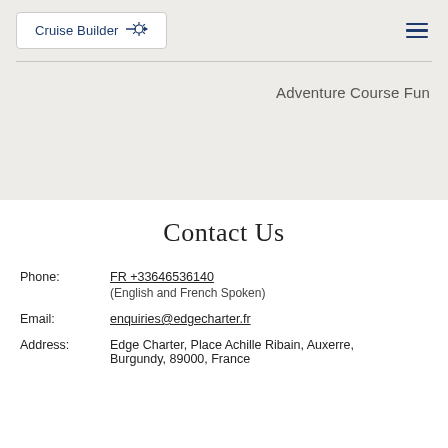Cruise Builder
Adventure Course Fun
Contact Us
Phone: FR +33646536140 (English and French Spoken)
Email: enquiries@edgecharter.fr
Address: Edge Charter, Place Achille Ribain, Auxerre, Burgundy, 89000, France